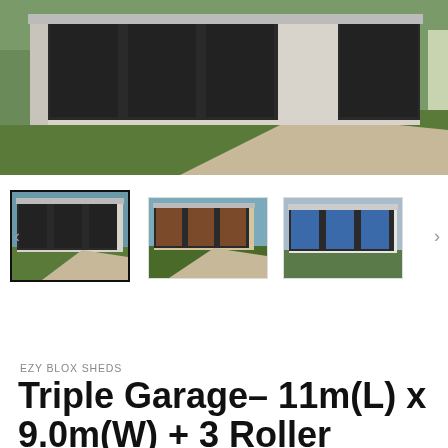[Figure (photo): Main large photo of a triple garage shed with dark/charcoal roller doors, light-colored walls, green grass lawn, and a concrete driveway visible. The building spans most of the image width.]
[Figure (photo): Thumbnail 1 (selected/active, with border): Triple garage shed with dark roller doors, light walls, green grass, clear blue sky.]
[Figure (photo): Thumbnail 2: Triple garage shed with brown/terracotta roller doors, beige walls, grass, concrete driveway.]
[Figure (photo): Thumbnail 3: Triple garage shed with blue roller doors, white/light walls, cloudy sky, green surroundings.]
EZY BLOX SHEDS
Triple Garage- 11m(L) x 9.0m(W) + 3 Roller Doors Inc